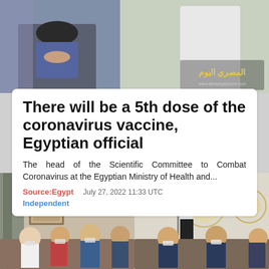[Figure (photo): Two people seated, vaccination scene, with Al-Masry Al-Youm news logo watermark in upper right corner]
There will be a 5th dose of the coronavirus vaccine, Egyptian official
The head of the Scientific Committee to Combat Coronavirus at the Egyptian Ministry of Health and...
Source:Egypt   July 27, 2022 11:33 UTC
Independent
[Figure (photo): Meeting scene with Egyptian officials seated around a table in an official government room with Egyptian flag]